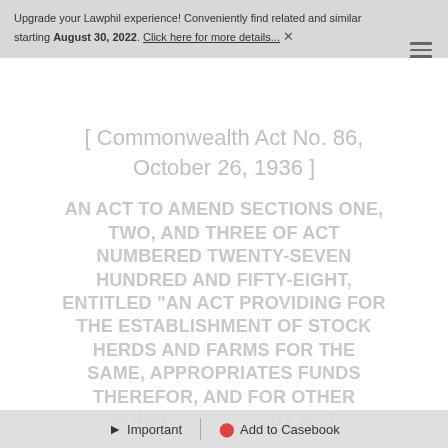Upgrade your Lawphil experience! Conveniently find related and similar starting August 30, 2022. Click here for more details... ✕
[ Commonwealth Act No. 86, October 26, 1936 ]
AN ACT TO AMEND SECTIONS ONE, TWO, AND THREE OF ACT NUMBERED TWENTY-SEVEN HUNDRED AND FIFTY-EIGHT, ENTITLED "AN ACT PROVIDING FOR THE ESTABLISHMENT OF STOCK HERDS AND FARMS FOR THE SAME, APPROPRIATES FUNDS THEREFOR, AND FOR OTHER PURPOSES," BY AN ACT
Important | Add to Casebook